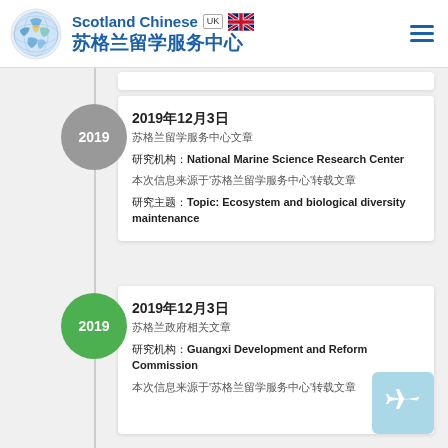Scotland Chinese 苏格兰留学服务中心
2019年12月3日
苏格兰留学服务中心文章
研究机构：National Marine Science Research Center
本次信息来源于'苏格兰留学服务中心'转载文章
研究主题：Topic: Ecosystem and biological diversity maintenance
2019年12月3日
苏格兰政府相关文章
研究机构：Guangxi Development and Reform Commission
本次信息来源于'苏格兰留学服务中心'转载文章